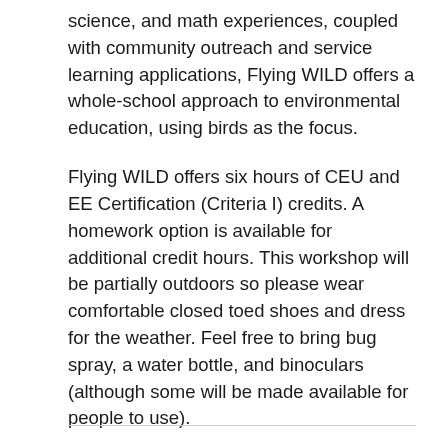science, and math experiences, coupled with community outreach and service learning applications, Flying WILD offers a whole-school approach to environmental education, using birds as the focus.
Flying WILD offers six hours of CEU and EE Certification (Criteria I) credits. A homework option is available for additional credit hours. This workshop will be partially outdoors so please wear comfortable closed toed shoes and dress for the weather. Feel free to bring bug spray, a water bottle, and binoculars (although some will be made available for people to use).
Please bring a bag lunch. Must attend workshop to receive materials. Pre-registration is required.